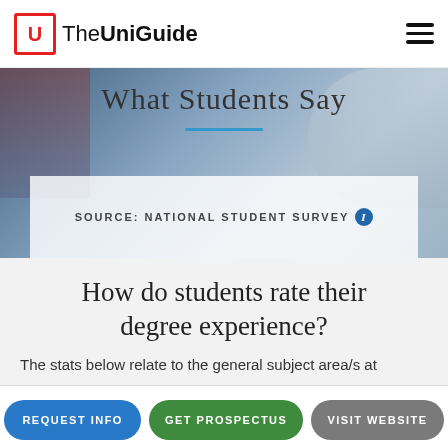The UniGuide
What Students Say
SOURCE: NATIONAL STUDENT SURVEY
How do students rate their degree experience?
The stats below relate to the general subject area/s at
REQUEST INFO
GET PROSPECTUS
VISIT WEBSITE
OPEN DAYS